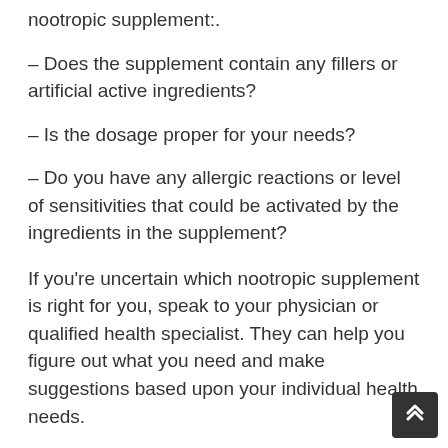nootropic supplement:.
– Does the supplement contain any fillers or artificial active ingredients?
– Is the dosage proper for your needs?
– Do you have any allergic reactions or level of sensitivities that could be activated by the ingredients in the supplement?
If you're uncertain which nootropic supplement is right for you, speak to your physician or qualified health specialist. They can help you figure out what you need and make suggestions based upon your individual health needs.
Nootropic supplements can use a variety of benefits, from enhanced cognitive function to increased energy levels. When choosing a